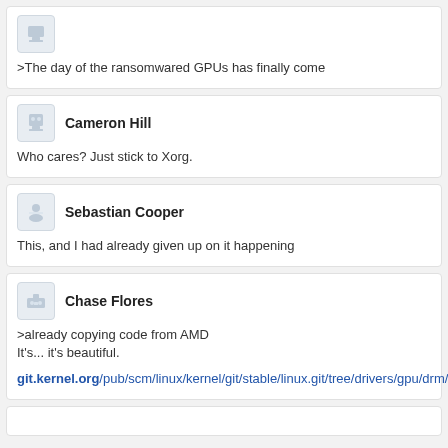>The day of the ransomwared GPUs has finally come
Cameron Hill
Who cares? Just stick to Xorg.
Sebastian Cooper
This, and I had already given up on it happening
Chase Flores
>already copying code from AMD
It's... it's beautiful.
git.kernel.org/pub/scm/linux/kernel/git/stable/linux.git/tree/drivers/gpu/drm/amd/amdgpu/amdgpu_device.c#n1177